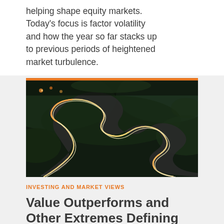helping shape equity markets. Today’s focus is factor volatility and how the year so far stacks up to previous periods of heightened market turbulence.
[Figure (photo): Aerial night photograph of a winding mountain road with long-exposure light trails from vehicles, showing serpentine curves surrounded by dark vegetation.]
INVESTING AND MARKET VIEWS
Value Outperforms and Other Extremes Defining Markets So Far This Year